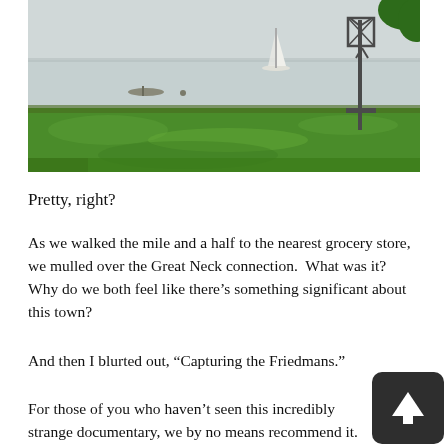[Figure (photo): Outdoor lakeside scene with green grass lawn in foreground, calm water with a sailboat and small boat in the background, and a tall metal sculpture of a human figure with arms raised on the right side, with a tree in the upper right corner.]
Pretty, right?
As we walked the mile and a half to the nearest grocery store, we mulled over the Great Neck connection.  What was it?  Why do we both feel like there's something significant about this town?
And then I blurted out, “Capturing the Friedmans.”
For those of you who haven’t seen this incredibly strange documentary, we by no means recommend it.